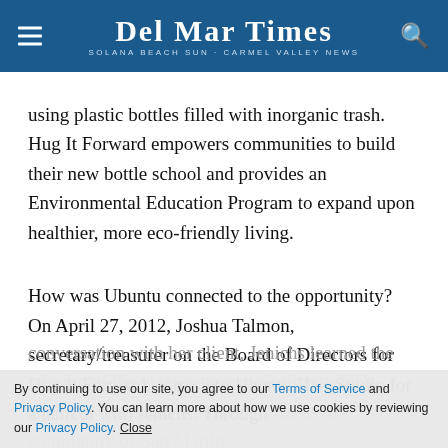Del Mar Times — Solana Beach Sun-Carmel Valley News
using plastic bottles filled with inorganic trash. Hug It Forward empowers communities to build their new bottle school and provides an Environmental Education Program to expand upon healthier, more eco-friendly living.
How was Ubuntu connected to the opportunity? On April 27, 2012, Joshua Talmon, secretary/treasurer on the Board of Directors for Hug It Forward, came into Ubuntu Hair Studio for a haircut with Jenichs. Through conversation with her client, Jenichs learned the mission of the grassroots organization, which connects funds and volunteers to assist the community of San Martin
By continuing to use our site, you agree to our Terms of Service and Privacy Policy. You can learn more about how we use cookies by reviewing our Privacy Policy. Close